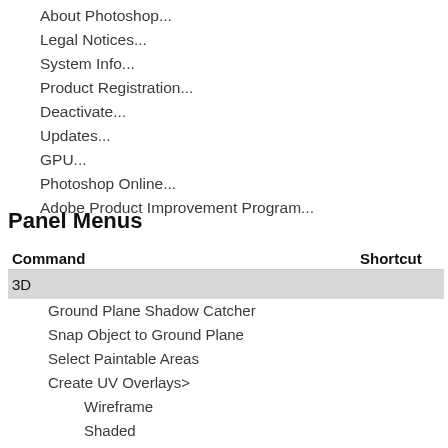About Photoshop...
Legal Notices...
System Info...
Product Registration...
Deactivate...
Updates...
GPU...
Photoshop Online...
Adobe Product Improvement Program...
Panel Menus
| Command | Shortcut |
| --- | --- |
| 3D |  |
| Ground Plane Shadow Catcher |  |
| Snap Object to Ground Plane |  |
| Select Paintable Areas |  |
| Create UV Overlays> |  |
| Wireframe |  |
| Shaded |  |
| Normal Map |  |